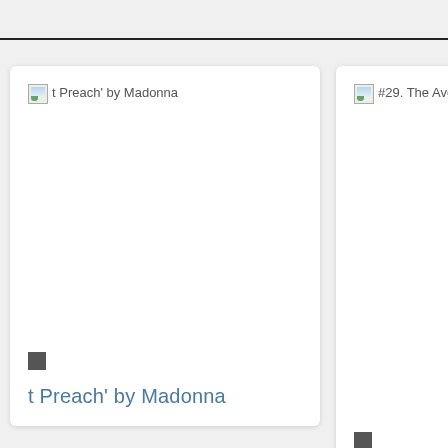[Figure (screenshot): A webpage screenshot showing two cards side by side. Left card shows a broken image with alt text 't Preach' by Madonna' and a title below reading 't Preach' by Madonna'. Right card (partially visible) shows a broken image with alt text '#29. The Avengers (2012' and a title '#29. The Avengers (2'.]
t Preach' by Madonna
#29. The Avengers (2012